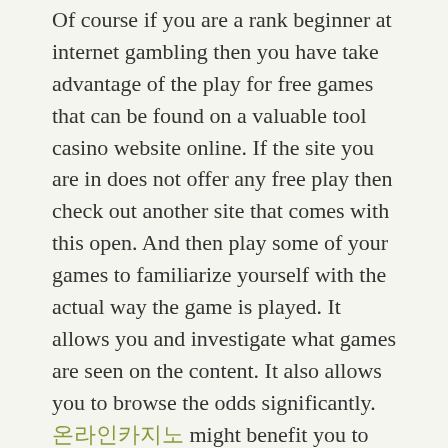Of course if you are a rank beginner at internet gambling then you have take advantage of the play for free games that can be found on a valuable tool casino website online. If the site you are in does not offer any free play then check out another site that comes with this open. And then play some of your games to familiarize yourself with the actual way the game is played. It allows you and investigate what games are seen on the content. It also allows you to browse the odds significantly. 온라인카지노 might benefit you to study some in the rules of your game commencing to play so discover when one play among the many games.
For those who love to gamble, they not require to visit casinos anymore just to place a bet. From the comforts for their own homes, they may now play online casino, make bets and win basically by going